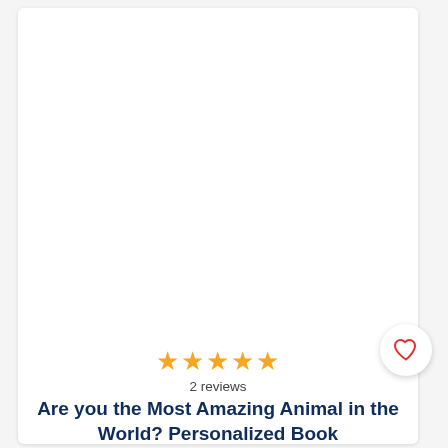[Figure (photo): White/blank product image area for a personalized book]
★★★★★
2 reviews
Are you the Most Amazing Animal in the World? Personalized Book